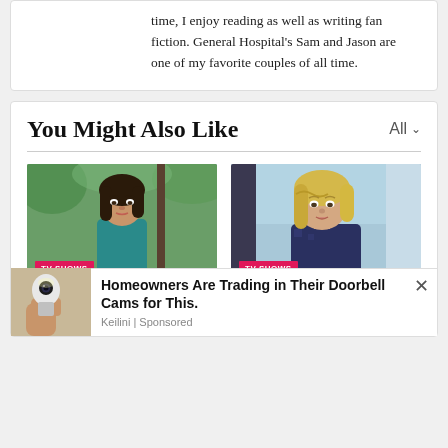time, I enjoy reading as well as writing fan fiction. General Hospital's Sam and Jason are one of my favorite couples of all time.
You Might Also Like
[Figure (photo): Photo of Alycia Debnam-Carey, young woman with dark hair, outdoors. TV SHOWS badge.]
[Figure (photo): Photo of Kim Dickens, blonde woman, indoor setting. TV SHOWS badge.]
Alycia Debnam-Carey On
Is Kim Dickens
[Figure (photo): Advertisement image showing a light bulb security camera. Homeowners Are Trading in Their Doorbell Cams for This. Keilini | Sponsored]